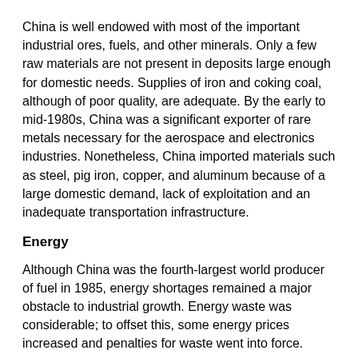China is well endowed with most of the important industrial ores, fuels, and other minerals. Only a few raw materials are not present in deposits large enough for domestic needs. Supplies of iron and coking coal, although of poor quality, are adequate. By the early to mid-1980s, China was a significant exporter of rare metals necessary for the aerospace and electronics industries. Nonetheless, China imported materials such as steel, pig iron, copper, and aluminum because of a large domestic demand, lack of exploitation and an inadequate transportation infrastructure.
Energy
Although China was the fourth-largest world producer of fuel in 1985, energy shortages remained a major obstacle to industrial growth. Energy waste was considerable; to offset this, some energy prices increased and penalties for waste went into force.
Coal was the primary energy source, accounting in 1985 for more than 70 percent of total fuel consumption. Proven reserves were more than 700 billion tons, and estimated reserves were 3,000 billion tons. Onshore and offshore oil reserves in 1985 were around 5.3 billion tons, on the other hand, China had the world's...